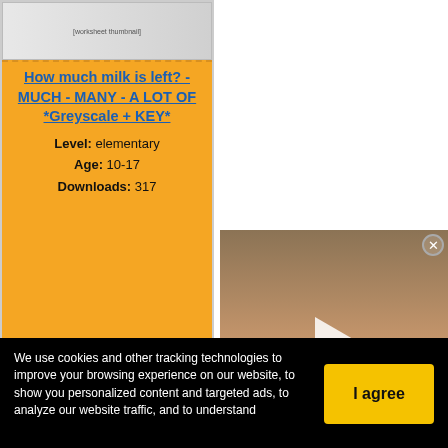[Figure (screenshot): Thumbnail preview of worksheet document]
How much milk is left? - MUCH - MANY - A LOT OF *Greyscale + KEY*
Level: elementary
Age: 10-17
Downloads: 317
[Figure (screenshot): Worksheet preview showing quantifier words (many, much, a little, a, an, some, a few, a lot of) with picture exercises and 'Now, Choose the correct answer' section]
[Figure (photo): Video player showing close-up of hair/scalp with play button overlay and close button]
We use cookies and other tracking technologies to improve your browsing experience on our website, to show you personalized content and targeted ads, to analyze our website traffic, and to understand